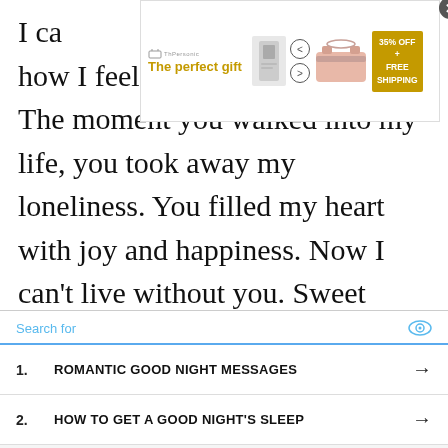[Figure (screenshot): Advertisement banner overlay showing 'The perfect gift' with product image, navigation arrows, and '35% OFF + FREE SHIPPING' promotion badge]
I ca[n't desc]ribe how I feel when I am with you. The moment you walked into my life, you took away my loneliness. You filled my heart with joy and happiness. Now I can't live without you. Sweet dreams and good night.
Before I met you, I used to have nightmares. Now that I have you in my
[Figure (screenshot): Video player overlay showing 'No compatible source was found for this' message]
[Figure (screenshot): Search widget overlay with search bar and two list items: 1. ROMANTIC GOOD NIGHT MESSAGES, 2. HOW TO GET A GOOD NIGHT'S SLEEP]